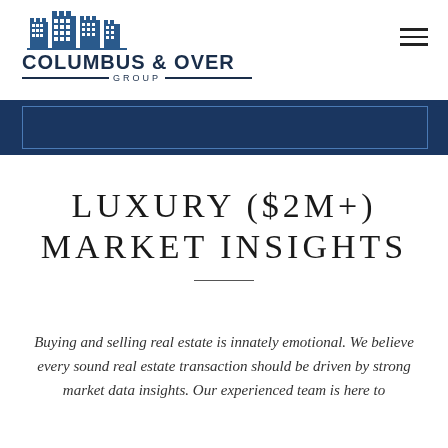Columbus & Over Group
LUXURY ($2M+) MARKET INSIGHTS
Buying and selling real estate is innately emotional. We believe every sound real estate transaction should be driven by strong market data insights. Our experienced team is here to